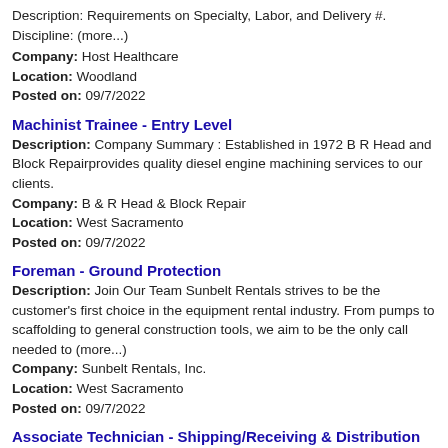Description: Requirements on Specialty, Labor, and Delivery #. Discipline: (more...)
Company: Host Healthcare
Location: Woodland
Posted on: 09/7/2022
Machinist Trainee - Entry Level
Description: Company Summary : Established in 1972 B R Head and Block Repairprovides quality diesel engine machining services to our clients.
Company: B & R Head & Block Repair
Location: West Sacramento
Posted on: 09/7/2022
Foreman - Ground Protection
Description: Join Our Team Sunbelt Rentals strives to be the customer's first choice in the equipment rental industry. From pumps to scaffolding to general construction tools, we aim to be the only call needed to (more...)
Company: Sunbelt Rentals, Inc.
Location: West Sacramento
Posted on: 09/7/2022
Associate Technician - Shipping/Receiving & Distribution
Description: (beginning of description cut off)